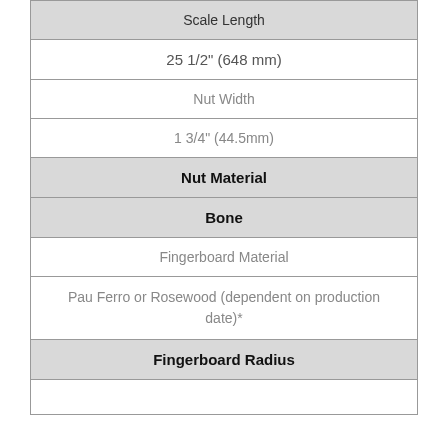| Scale Length |
| 25 1/2" (648 mm) |
| Nut Width |
| 1 3/4" (44.5mm) |
| Nut Material |
| Bone |
| Fingerboard Material |
| Pau Ferro or Rosewood (dependent on production date)* |
| Fingerboard Radius |
|  |